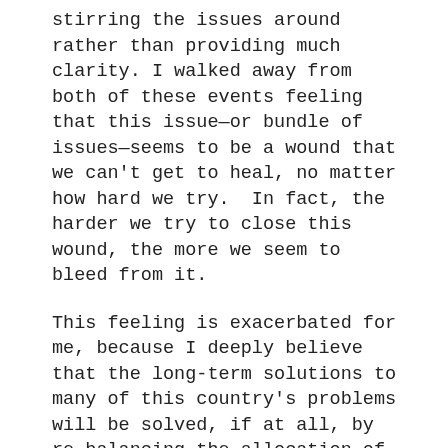stirring the issues around rather than providing much clarity. I walked away from both of these events feeling that this issue—or bundle of issues—seems to be a wound that we can't get to heal, no matter how hard we try.  In fact, the harder we try to close this wound, the more we seem to bleed from it.
This feeling is exacerbated for me, because I deeply believe that the long-term solutions to many of this country's problems will be solved, if at all, by re-balancing the allocation of responsibility and power of government based on the principles contained in the 10th Amendment—and yet, effectively addressing the immigration issue has seemed to me to require a more coherent and aggressive federal, rather than a state and local response. Because Washington seems increasingly